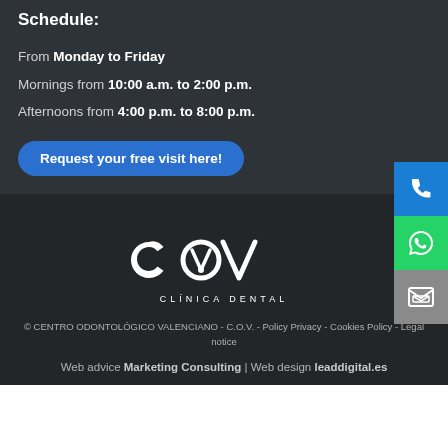Schedule:
From Monday to Friday
Mornings from 10:00 a.m. to 2:00 p.m.
Afternoons from 4:00 p.m. to 8:00 p.m.
Request your free visit here!
[Figure (logo): COV Clínica Dental logo — white lettering with location pin icon]
© CENTRO ODONTOLÓGICO VALENCIANO - C.O.V. - Policy Privacy - Cookies Policy - Legal notice
Web advice Marketing Consulting | Web design leaddigital.es